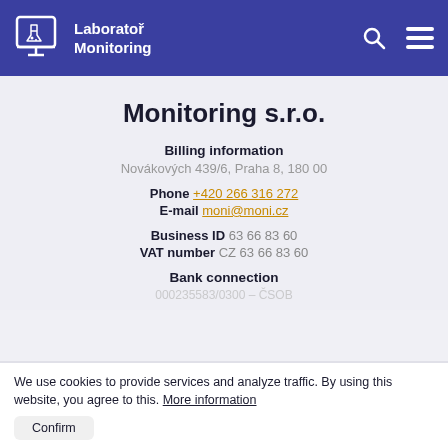Laboratoř Monitoring
Monitoring s.r.o.
Billing information
Novákových 439/6, Praha 8, 180 00
Phone +420 266 316 272
E-mail moni@moni.cz
Business ID 63 66 83 60
VAT number CZ 63 66 83 60
Bank connection
000235583/0300 - ČSOB
We use cookies to provide services and analyze traffic. By using this website, you agree to this. More information
Confirm